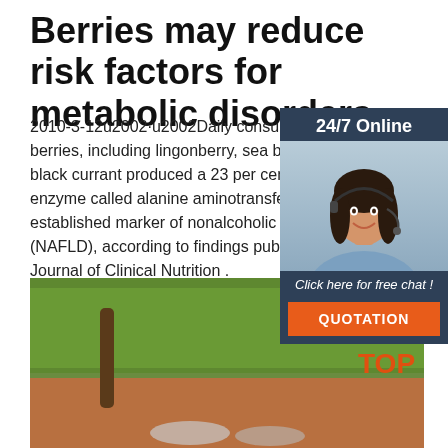Berries may reduce risk factors for metabolic disorders
2010-3-12u2002·u2002Daily consumption of a range of berries, including lingonberry, sea buckthorn, bilberry, black currant produced a 23 per cent reduction in an enzyme called alanine aminotransferase (ALAT), an established marker of nonalcoholic fatty liver disease (NAFLD), according to findings published in the British Journal of Clinical Nutrition .
[Figure (photo): Online chat widget with photo of woman wearing headset, 24/7 Online header, 'Click here for free chat!' text, and orange QUOTATION button]
Get Price
[Figure (photo): Outdoor photo with grass and wooden/metal objects visible, with TOP logo in bottom right corner]